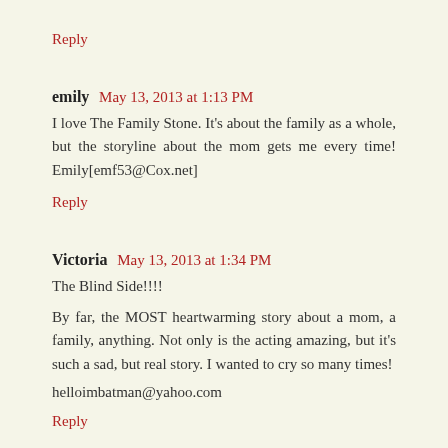Reply
emily  May 13, 2013 at 1:13 PM
I love The Family Stone. It's about the family as a whole, but the storyline about the mom gets me every time! Emily[emf53@Cox.net]
Reply
Victoria  May 13, 2013 at 1:34 PM
The Blind Side!!!!
By far, the MOST heartwarming story about a mom, a family, anything. Not only is the acting amazing, but it's such a sad, but real story. I wanted to cry so many times!
helloimbatman@yahoo.com
Reply